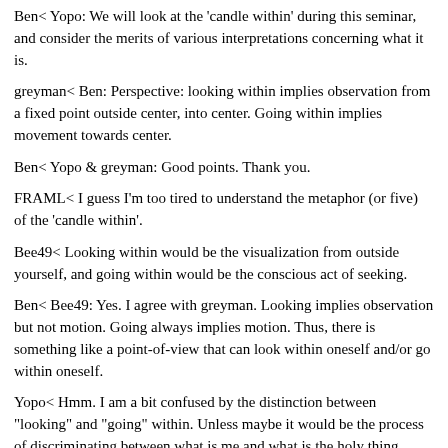Ben< Yopo: We will look at the 'candle within' during this seminar, and consider the merits of various interpretations concerning what it is.
greyman< Ben: Perspective: looking within implies observation from a fixed point outside center, into center. Going within implies movement towards center.
Ben< Yopo & greyman: Good points. Thank you.
FRAML< I guess I'm too tired to understand the metaphor (or five) of the 'candle within'.
Bee49< Looking within would be the visualization from outside yourself, and going within would be the conscious act of seeking.
Ben< Bee49: Yes. I agree with greyman. Looking implies observation but not motion. Going always implies motion. Thus, there is something like a point-of-view that can look within oneself and/or go within oneself.
Yopo< Hmm. I am a bit confused by the distinction between "looking" and "going" within. Unless maybe it would be the process of discriminating between what is me and what is the holy thing within. "Going" might mean you are passing by and through the interference to get to a point where nothing separates your own self from the holy something. "Looking" might be more